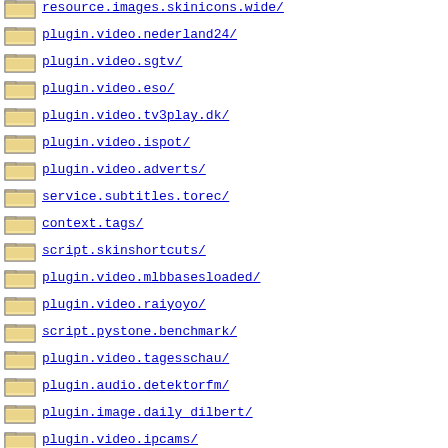resource.images.skinicons.wide/
plugin.video.nederland24/
plugin.video.sgtv/
plugin.video.eso/
plugin.video.tv3play.dk/
plugin.video.ispot/
plugin.video.adverts/
service.subtitles.torec/
context.tags/
script.skinshortcuts/
plugin.video.mlbbasesloaded/
plugin.video.raiyoyo/
script.pystone.benchmark/
plugin.video.tagesschau/
plugin.audio.detektorfm/
plugin.image.daily_dilbert/
plugin.video.ipcams/
plugin.video.tehnik/